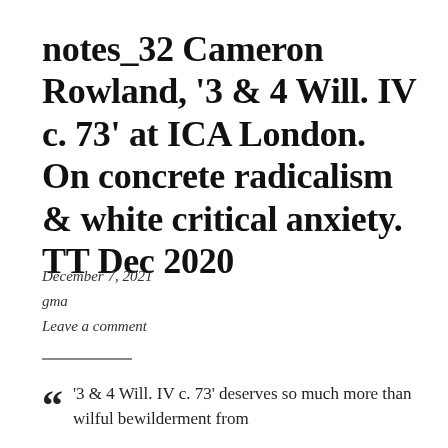notes_32 Cameron Rowland, '3 & 4 Will. IV c. 73' at ICA London. On concrete radicalism & white critical anxiety. TT Dec 2020
December 7, 2021
gma
Leave a comment
'3 & 4 Will. IV c. 73' deserves so much more than wilful bewilderment from